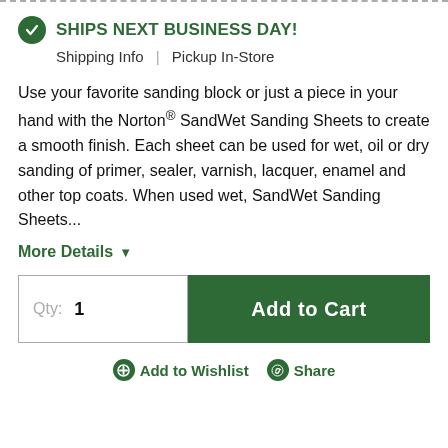SHIPS NEXT BUSINESS DAY!
Shipping Info | Pickup In-Store
Use your favorite sanding block or just a piece in your hand with the Norton® SandWet Sanding Sheets to create a smooth finish. Each sheet can be used for wet, oil or dry sanding of primer, sealer, varnish, lacquer, enamel and other top coats. When used wet, SandWet Sanding Sheets...
More Details ▾
Qty: 1
Add to Cart
Add to Wishlist  Share